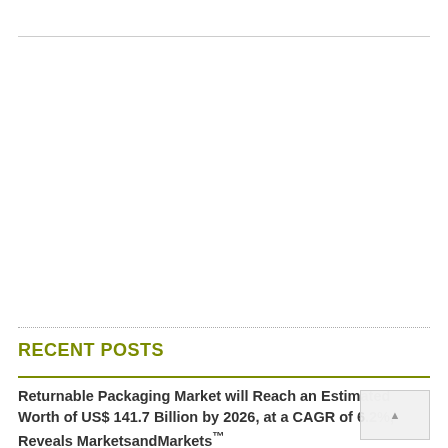RECENT POSTS
Returnable Packaging Market will Reach an Estimated Worth of US$ 141.7 Billion by 2026, at a CAGR of 6.2%, Reveals MarketsandMarkets™